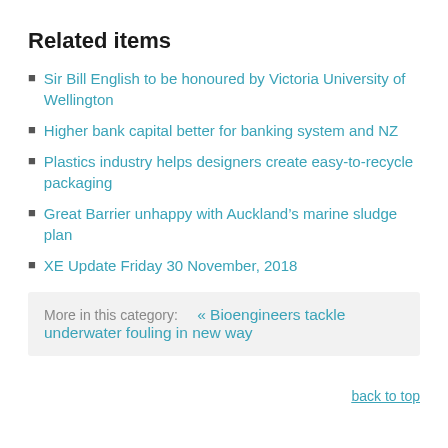Related items
Sir Bill English to be honoured by Victoria University of Wellington
Higher bank capital better for banking system and NZ
Plastics industry helps designers create easy-to-recycle packaging
Great Barrier unhappy with Auckland’s marine sludge plan
XE Update Friday 30 November, 2018
More in this category:    « Bioengineers tackle underwater fouling in new way
back to top